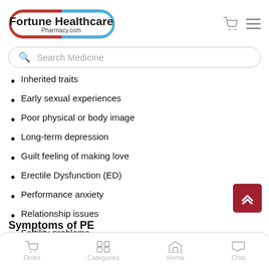[Figure (logo): Fortune Healthcare Pharmacy.com logo — pill-shaped capsule with red left half and blue right half, bold text 'Fortune Healthcare' and 'Pharmacy.com' below]
Search Medicine
Inherited traits
Early sexual experiences
Poor physical or body image
Long-term depression
Guilt feeling of making love
Erectile Dysfunction (ED)
Performance anxiety
Relationship issues
Fertility problems
Symptoms of PE
Order   Categories   Home   Chat